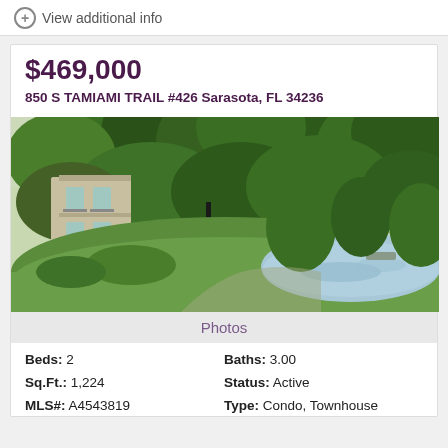View additional info
$469,000
850 S TAMIAMI TRAIL #426 Sarasota, FL 34236
[Figure (photo): Exterior photo of condo/townhouse at 850 S Tamiami Trail, showing lush green trees, a lawn, a pond with reflections, and a multi-story building visible in the background.]
Photos
Beds: 2
Baths: 3.00
Sq.Ft.: 1,224
Status: Active
MLS#: A4543819
Type: Condo, Townhouse